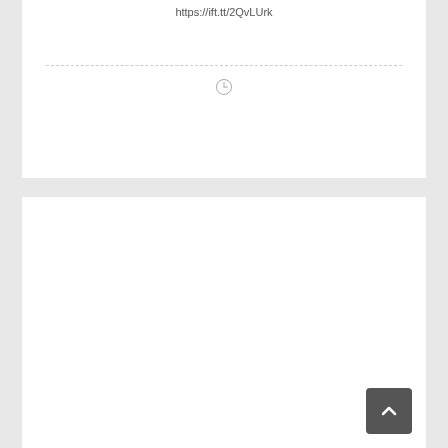https://ift.tt/2QvLUrk
[Figure (other): Clock/time icon indicating loading or pending content]
[Figure (other): Empty white card panel below the first card]
[Figure (other): Dark grey back-to-top button with upward chevron arrow in bottom right corner]